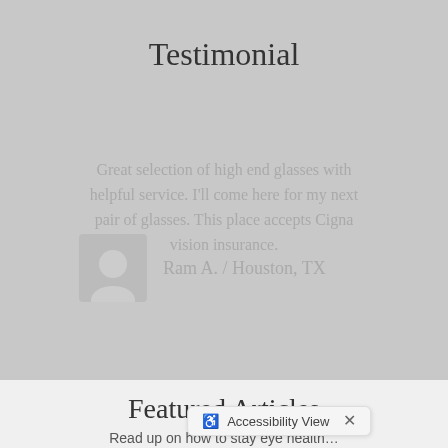Testimonial
Great selection of high end glasses with helpful service. I'll come here for my next pair of glasses. This place accepts Cigna vision insurance.
Ram A. / Houston, TX
Featured Articles
Read up on how to stay eye health…